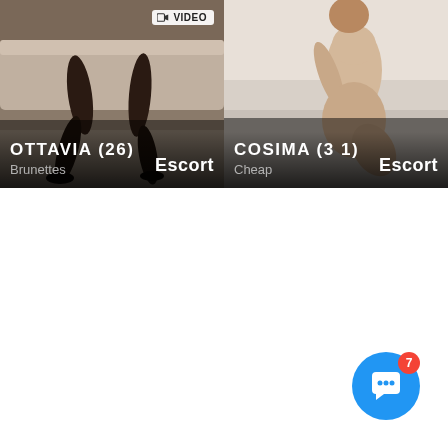[Figure (photo): Left card showing legs of a woman in black dress seated on a light sofa, with text overlay OTTAVIA (26), Brunettes, Escort, and VIDEO badge]
[Figure (photo): Right card showing a nude female figure kneeling, with text overlay COSIMA (31), Cheap, Escort]
[Figure (other): Blue chat widget button with red notification badge showing number 7 in bottom right corner]